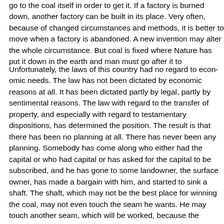go to the coal itself in order to get it. If a factory is burned down, another factory can be built in its place. Very often, because of changed circumstances and methods, it is better to move when a factory is abandoned. A new invention may alter the whole circumstance. But coal is fixed where Nature has put it down in the earth and man must go after it to where it is.
Unfortunately, the laws of this country had no regard to economic needs. The law has not been dictated by economic reasons at all. It has been dictated partly by legal, partly by sentimental reasons. The law with regard to the transfer of property, and especially with regard to testamentary dispositions, has determined the position. The result is that there has been no planning at all. There has never been any planning. Somebody has come along who either had the capital or who had capital or has asked for the capital to be subscribed, and he has gone to some landowner, the surface owner, has made a bargain with him, and started to sink a shaft. The shaft, which may not be the best place for winning the coal, may not even touch the seam he wants. He may touch another seam, which will be worked, because the expense of putting a shaft down has been so great that it is better to keep on working. There never has been any planning, because the laws have always found themselves at variance with the ordinary law of ownership of the surface. In addition to this complete lack of planning, there have been these continuous disputes between capital and labour. It is interesting to look at the reports of the Sankey Commission and the Samuel Committee. I know of no commission the members of which were more unanimous than was the case with the Sankey Commission. There was no una